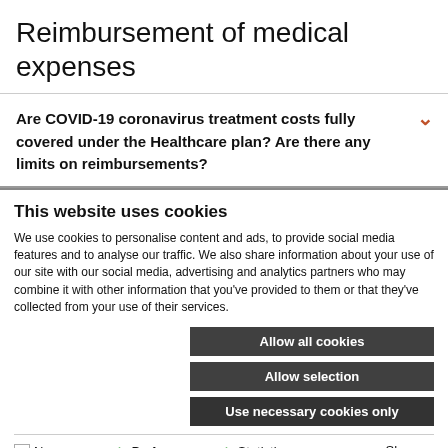Reimbursement of medical expenses
Are COVID-19 coronavirus treatment costs fully covered under the Healthcare plan? Are there any limits on reimbursements?
This website uses cookies
We use cookies to personalise content and ads, to provide social media features and to analyse our traffic. We also share information about your use of our site with our social media, advertising and analytics partners who may combine it with other information that you've provided to them or that they've collected from your use of their services.
Allow all cookies
Allow selection
Use necessary cookies only
Necessary  Preferences  Statistics  Marketing  Show details